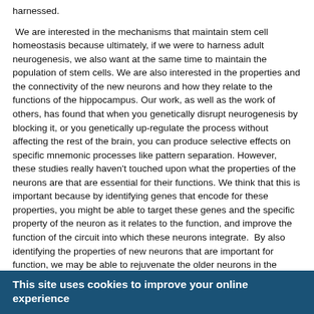harnessed. We are interested in the mechanisms that maintain stem cell homeostasis because ultimately, if we were to harness adult neurogenesis, we also want at the same time to maintain the population of stem cells. We are also interested in the properties and the connectivity of the new neurons and how they relate to the functions of the hippocampus. Our work, as well as the work of others, has found that when you genetically disrupt neurogenesis by blocking it, or you genetically up-regulate the process without affecting the rest of the brain, you can produce selective effects on specific mnemonic processes like pattern separation. However, these studies really haven't touched upon what the properties of the neurons are that are essential for their functions. We think that this is important because by identifying genes that encode for these properties, you might be able to target these genes and the specific property of the neuron as it relates to the function, and improve the function of the circuit into which these neurons integrate.  By also identifying the properties of new neurons that are important for function, we may be able to rejuvenate the older neurons in the circuit and that is just as important because adult born neurons comprise 10-20% of the total number of neurons in the dentate gyrus, which is the circuit in which neurogenesis occurs.  So for
This site uses cookies to improve your online experience